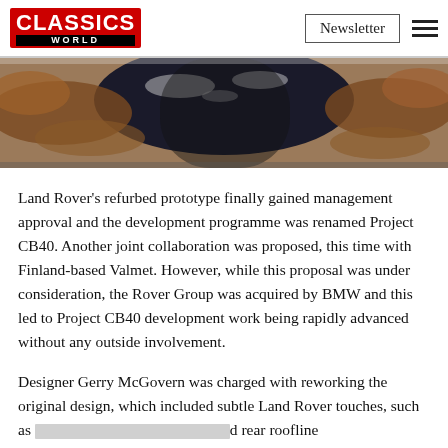CLASSICS WORLD | Newsletter
[Figure (photo): Close-up photograph of a rusty/weathered car underbody or roof area, dark central area with rust and peeling paint around the edges.]
Land Rover's refurbed prototype finally gained management approval and the development programme was renamed Project CB40. Another joint collaboration was proposed, this time with Finland-based Valmet. However, while this proposal was under consideration, the Rover Group was acquired by BMW and this led to Project CB40 development work being rapidly advanced without any outside involvement.
Designer Gerry McGovern was charged with reworking the original design, which included subtle Land Rover touches, such as [redacted] rear roofline [redacted] ming